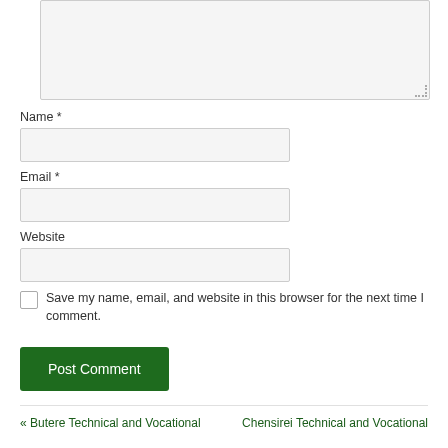[Figure (screenshot): Large textarea input box for comment, with resize handle at bottom-right corner, light gray background]
Name *
[Figure (screenshot): Name input field, light gray background, rectangular]
Email *
[Figure (screenshot): Email input field, light gray background, rectangular]
Website
[Figure (screenshot): Website input field, light gray background, rectangular]
Save my name, email, and website in this browser for the next time I comment.
Post Comment
« Butere Technical and Vocational
Chensirei Technical and Vocational